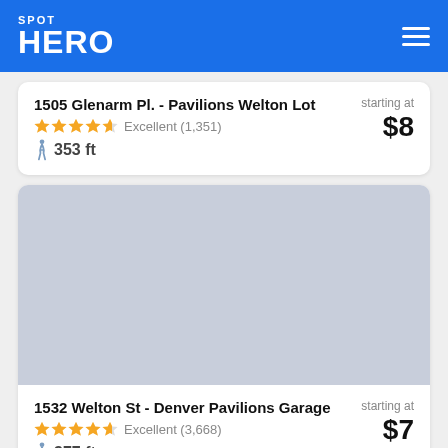SPOT HERO
1505 Glenarm Pl. - Pavilions Welton Lot | starting at $8 | Excellent (1,351) | 353 ft
[Figure (photo): Gray placeholder image for parking location]
1532 Welton St - Denver Pavilions Garage | starting at $7 | Excellent (3,668) | 377 ft